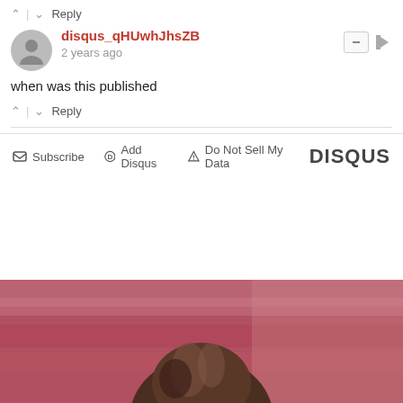^ | v  Reply
disqus_qHUwhJhsZB
2 years ago
when was this published
^ | v  Reply
Subscribe  Add Disqus  Do Not Sell My Data  DISQUS
[Figure (photo): Partial photo of a person with dark brown hair against a blurred pink/red background]